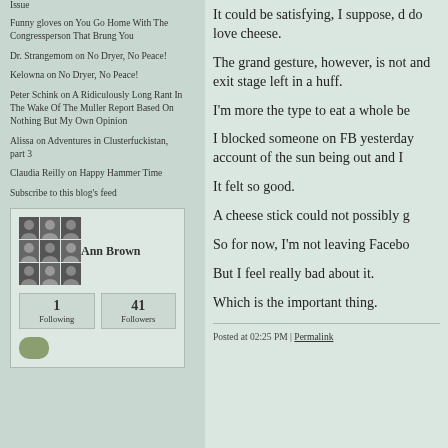Issue
Funny gloves on You Go Home With The Congressperson That Brung You
Dr. Strangemom on No Dryer, No Peace!
Kelowna on No Dryer, No Peace!
Peter Schink on A Ridiculously Long Rant In The Wake Of The Muller Report Based On Nothing But My Own Opinion
Alissa on Adventures in Clusterfuckistan, part 3
Claudia Reilly on Happy Hammer Time
Subscribe to this blog's feed
[Figure (other): Profile card for Ann Brown showing a 3x3 photo grid, name, 1 Following, 41 Followers, and a green oval icon]
It could be satisfying, I suppose, d do love cheese.
The grand gesture, however, is not and exit stage left in a huff.
I'm more the type to eat a whole be
I blocked someone on FB yesterday account of the sun being out and I
It felt so good.
A cheese stick could not possibly g
So for now, I'm not leaving Facebo
But I feel really bad about it.
Which is the important thing.
Posted at 02:25 PM | Permalink